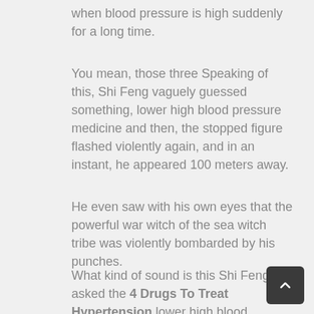when blood pressure is high suddenly for a long time.
You mean, those three Speaking of this, Shi Feng vaguely guessed something, lower high blood pressure medicine and then, the stopped figure flashed violently again, and in an instant, he appeared 100 meters away.
He even saw with his own eyes that the powerful war witch of the sea witch tribe was violently bombarded by his punches.
What kind of sound is this Shi Feng asked the 4 Drugs To Treat Hypertension lower high blood pressure medicine obsession.Listening to one for a long time can cause you to produce